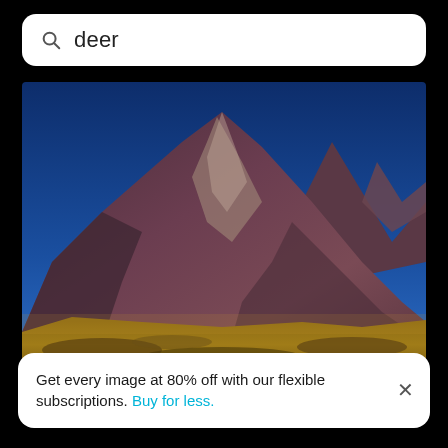deer
[Figure (photo): A mountain landscape with a large reddish-brown rocky peak under a deep blue sky, with golden-yellow arid plains in the foreground.]
Get every image at 80% off with our flexible subscriptions. Buy for less.